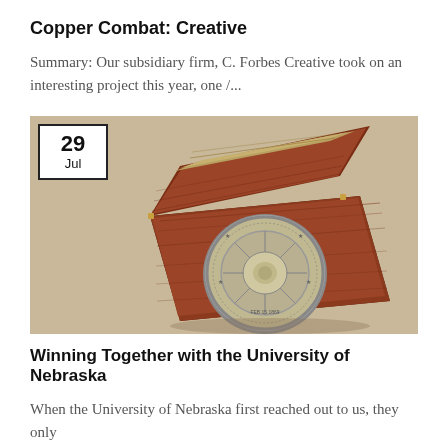Copper Combat: Creative
Summary: Our subsidiary firm, C. Forbes Creative took on an interesting project this year, one /...
[Figure (photo): A decorative wooden box with a hinged lid open, displaying a commemorative coin with an embossed seal, set against a tan/kraft paper background. A date badge overlay shows '29 Jul'.]
Winning Together with the University of Nebraska
When the University of Nebraska first reached out to us, they only needed one thing: /...